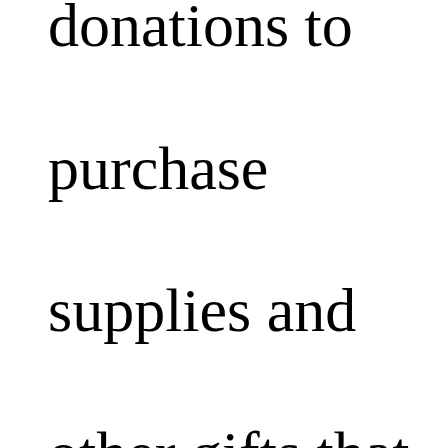donations to purchase supplies and other gifts that will be going in the shoeboxes. The will